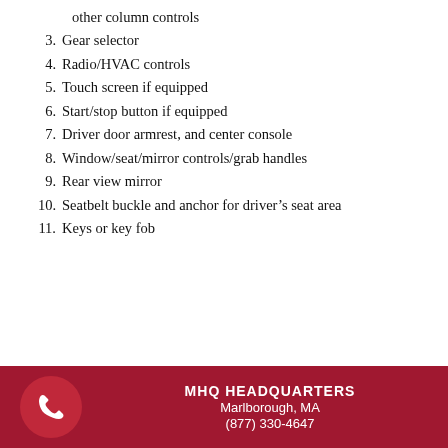other column controls
3. Gear selector
4. Radio/HVAC controls
5. Touch screen if equipped
6. Start/stop button if equipped
7. Driver door armrest, and center console
8. Window/seat/mirror controls/grab handles
9. Rear view mirror
10. Seatbelt buckle and anchor for driver’s seat area
11. Keys or key fob
MHQ HEADQUARTERS
Marlborough, MA
(877) 330-4647